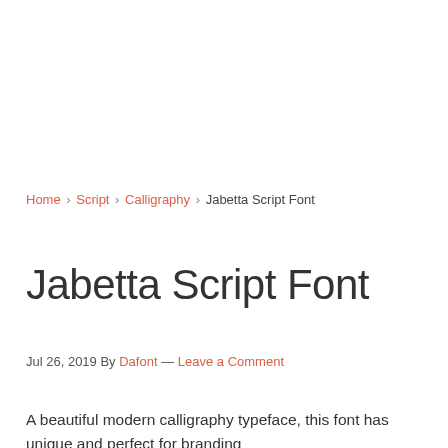Home › Script › Calligraphy › Jabetta Script Font
Jabetta Script Font
Jul 26, 2019 By Dafont — Leave a Comment
A beautiful modern calligraphy typeface, this font has unique and perfect for branding